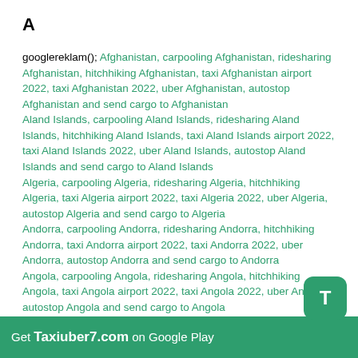A
googlereklam(); Afghanistan, carpooling Afghanistan, ridesharing Afghanistan, hitchhiking Afghanistan, taxi Afghanistan airport 2022, taxi Afghanistan 2022, uber Afghanistan, autostop Afghanistan and send cargo to Afghanistan
Aland Islands, carpooling Aland Islands, ridesharing Aland Islands, hitchhiking Aland Islands, taxi Aland Islands airport 2022, taxi Aland Islands 2022, uber Aland Islands, autostop Aland Islands and send cargo to Aland Islands
Algeria, carpooling Algeria, ridesharing Algeria, hitchhiking Algeria, taxi Algeria airport 2022, taxi Algeria 2022, uber Algeria, autostop Algeria and send cargo to Algeria
Andorra, carpooling Andorra, ridesharing Andorra, hitchhiking Andorra, taxi Andorra airport 2022, taxi Andorra 2022, uber Andorra, autostop Andorra and send cargo to Andorra
Angola, carpooling Angola, ridesharing Angola, hitchhiking Angola, taxi Angola airport 2022, taxi Angola 2022, uber Angola, autostop Angola and send cargo to Angola
Get Taxiuber7.com on Google Play